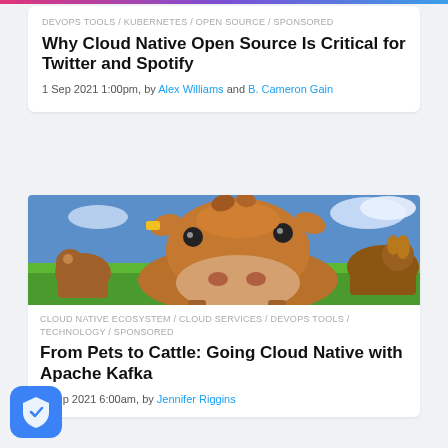DEVOPS TOOLS / KUBERNETES / OPEN SOURCE / SPONSORED
Why Cloud Native Open Source Is Critical for Twitter and Spotify
1 Sep 2021 1:00pm, by Alex Williams and B. Cameron Gain
[Figure (photo): Close-up photo of brown cows in a green field, one cow's nose prominently in the foreground]
CLOUD NATIVE ECOSYSTEM / CLOUD SERVICES / DEVOPS TOOLS / TECHNOLOGY / SPONSORED
From Pets to Cattle: Going Cloud Native with Apache Kafka
1 Sep 2021 6:00am, by Jennifer Riggins